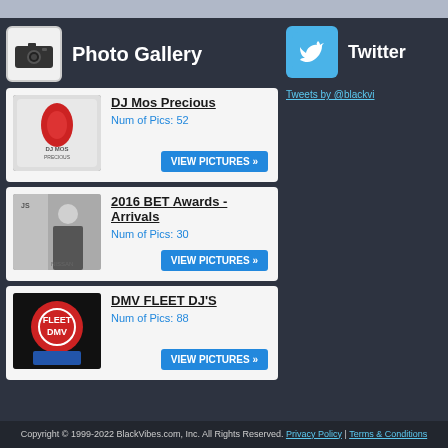Photo Gallery
DJ Mos Precious
Num of Pics: 52
VIEW PICTURES »
2016 BET Awards - Arrivals
Num of Pics: 30
VIEW PICTURES »
DMV FLEET DJ'S
Num of Pics: 88
VIEW PICTURES »
Twitter
Tweets by @blackvi
Copyright © 1999-2022 BlackVibes.com, Inc. All Rights Reserved. Privacy Policy | Terms & Conditions